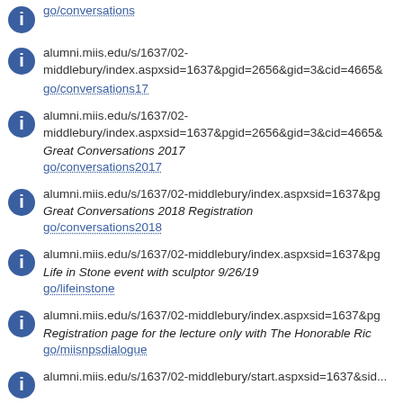go/conversations
alumni.miis.edu/s/1637/02-middlebury/index.aspxsid=1637&pgid=2656&gid=3&cid=4665& go/conversations17
alumni.miis.edu/s/1637/02-middlebury/index.aspxsid=1637&pgid=2656&gid=3&cid=4665& Great Conversations 2017 go/conversations2017
alumni.miis.edu/s/1637/02-middlebury/index.aspxsid=1637&pg Great Conversations 2018 Registration go/conversations2018
alumni.miis.edu/s/1637/02-middlebury/index.aspxsid=1637&pg Life in Stone event with sculptor 9/26/19 go/lifeinstone
alumni.miis.edu/s/1637/02-middlebury/index.aspxsid=1637&pg Registration page for the lecture only with The Honorable Ric go/miisnpsdialogue
alumni.miis.edu/s/1637/02-middlebury/start.aspxsid=1637&sid...